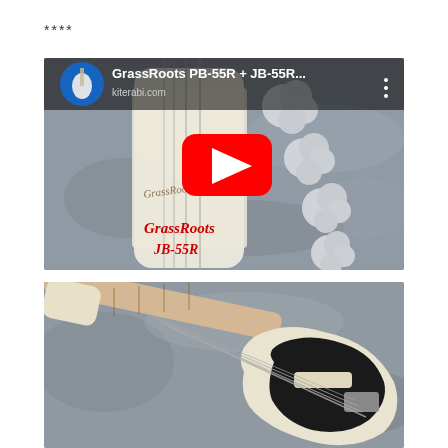****
[Figure (screenshot): YouTube video thumbnail showing GrassRoots PB-55R + JB-55R bass guitar headstock with tuning pegs, red YouTube play button overlay, channel avatar (blue circle with hollow-body guitar), text 'GrassRoots PB-55R + JB-55R...' in white, and red text 'GrassRoots JB-55R' at bottom right. Site watermark 'kiterabi.com' visible in top right.]
[Figure (photo): Photograph of a GrassRoots JB-55R bass guitar (cream/white and black body) lying on a grey marbled surface, showing full length of the instrument with the neck extending toward the upper left and the body visible in the lower right portion of the frame.]